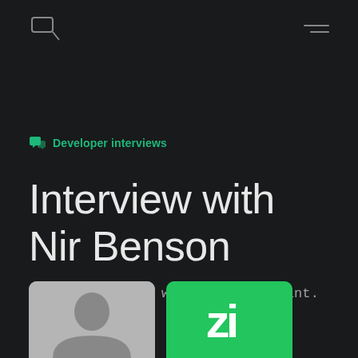Developer interviews
Interview with Nir Benson
CEO, Zigi - Dev workflow assistant.
[Figure (photo): Two thumbnail images at bottom: a person's portrait on a grey background (left) and a green Zigi logo card (right)]